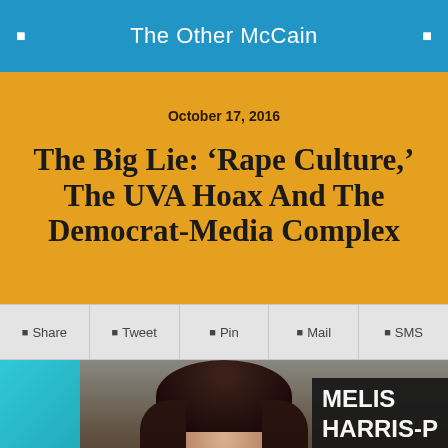The Other McCain
October 17, 2016
The Big Lie: ‘Rape Culture,’ The UVA Hoax And The Democrat-Media Complex
■ Share
■ Tweet
■ Pin
■ Mail
■ SMS
[Figure (photo): Woman with dark curly hair and glasses on a TV set; text overlay reads MELIS / HARRIS-P in the upper right corner]